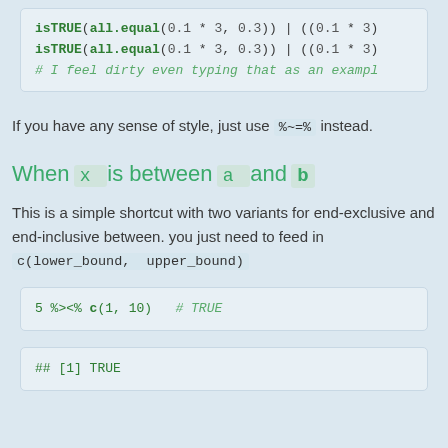[Figure (screenshot): Code block showing isTRUE(all.equal(...)) lines and comment]
If you have any sense of style, just use %~=% instead.
When x is between a and b
This is a simple shortcut with two variants for end-exclusive and end-inclusive between. you just need to feed in c(lower_bound, upper_bound)
[Figure (screenshot): Code block: 5 %><%  c(1, 10)  # TRUE]
[Figure (screenshot): Output block: ## [1] TRUE]